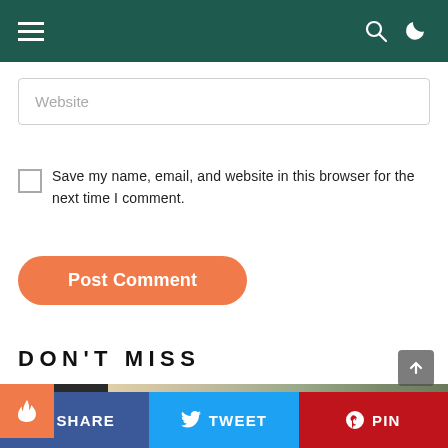Navigation bar with hamburger menu, search icon, and dark mode toggle
Website
Save my name, email, and website in this browser for the next time I comment.
Post Comment
DON'T MISS
[Figure (photo): Partial view of a person wearing a striped shirt and olive/green jacket, with a dark background on the left and lighter background on the right. An orange flame badge is in the top-left corner.]
SHARE  TWEET  PIN